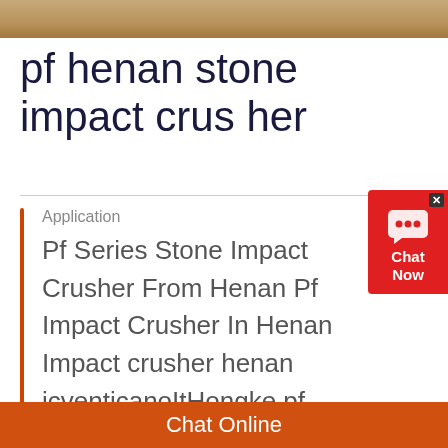[Figure (photo): Top banner image showing sandy/rocky brown texture, likely stone or gravel material]
pf henan stone impact crusher
Application
Pf Series Stone Impact Crusher From Henan Pf Impact Crusher In Henan Impact crusher henan icventicanoItHongke pf impact crusher machine,us 75,000 235,000 moret
[Figure (infographic): Red chat widget with speech bubble icon, close button (x), and 'Chat Now' text]
Chat Online